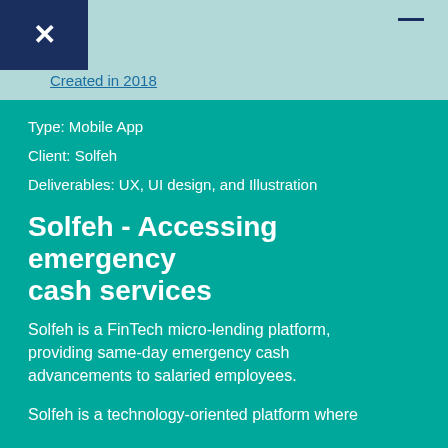[Figure (logo): Dark navy blue box with white X logo mark]
Created in 2018
Type: Mobile App
Client: Solfeh
Deliverables: UX, UI design, and Illustration
Solfeh - Accessing emergency cash services
Solfeh is a FinTech micro-lending platform, providing same-day emergency cash advancements to salaried employees.
Solfeh is a technology-oriented platform where